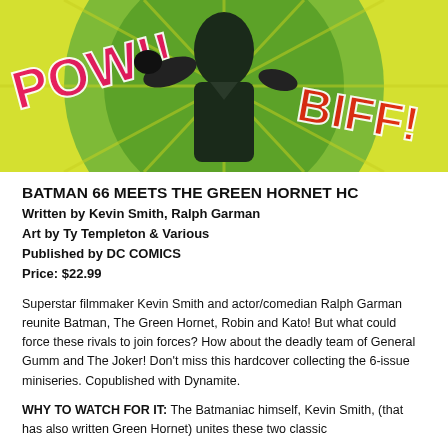[Figure (illustration): Colorful comic book cover art showing a man in a dark suit with gloves in a fighting pose, surrounded by pop-art style 'POW!' and 'BIFF!' text in bright pink/red lettering on a yellow and green swirling background.]
BATMAN 66 MEETS THE GREEN HORNET HC
Written by Kevin Smith, Ralph Garman
Art by Ty Templeton & Various
Published by DC COMICS
Price: $22.99
Superstar filmmaker Kevin Smith and actor/comedian Ralph Garman reunite Batman, The Green Hornet, Robin and Kato! But what could force these rivals to join forces? How about the deadly team of General Gumm and The Joker! Don't miss this hardcover collecting the 6-issue miniseries. Copublished with Dynamite.
WHY TO WATCH FOR IT: The Batmaniac himself, Kevin Smith, (that has also written Green Hornet) unites these two classic